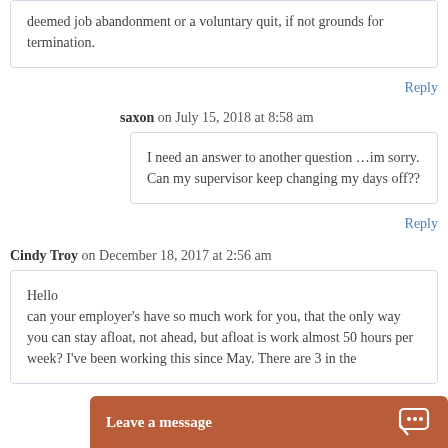deemed job abandonment or a voluntary quit, if not grounds for termination.
Reply
saxon on July 15, 2018 at 8:58 am
I need an answer to another question …im sorry. Can my supervisor keep changing my days off??
Reply
Cindy Troy on December 18, 2017 at 2:56 am
Hello can your employer's have so much work for you, that the only way you can stay afloat, not ahead, but afloat is work almost 50 hours per week? I've been working this since May. There are 3 in the department, but also w…